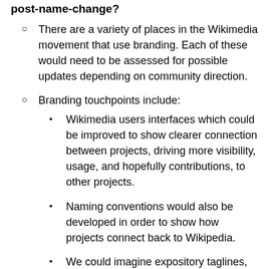What other branding actions are being considered post-name-change?
There are a variety of places in the Wikimedia movement that use branding. Each of these would need to be assessed for possible updates depending on community direction.
Branding touchpoints include:
Wikimedia users interfaces which could be improved to show clearer connection between projects, driving more visibility, usage, and hopefully contributions, to other projects.
Naming conventions would also be developed in order to show how projects connect back to Wikipedia.
We could imagine expository taglines, for example, that would describe “Wiktionary” as “a Wikipedia project.”